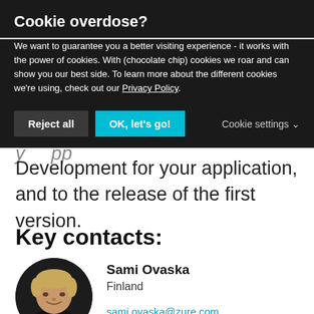Cookie overdose?
We want to guarantee you a better visiting experience - it works with the power of cookies. With (chocolate chip) cookies we roar and can show you our best side. To learn more about the different cookies we're using, check out our Privacy Policy.
Reject all | OK, let's go! | Cookie settings
Development for your application, and to the release of the first version.
Key contacts:
[Figure (photo): Circular portrait photo of Sami Ovaska, a man with light hair, wearing a dark shirt, on a dark background.]
Sami Ovaska
Finland
sami.ovaska@zure.com